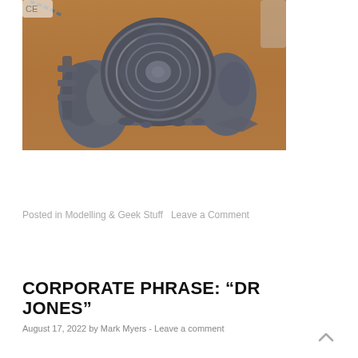[Figure (photo): A 3D-printed grey figurine/diorama featuring a swirling vortex portal flanked by rocky formations and gear elements, displayed on a wooden surface.]
Posted in Modelling & Geek Stuff  Leave a Comment
CORPORATE PHRASE: “DR JONES”
August 17, 2022 by Mark Myers - Leave a comment